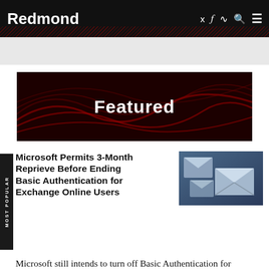Redmond
[Figure (illustration): Red and black textured banner with 'Featured' text center]
Microsoft Permits 3-Month Reprieve Before Ending Basic Authentication for Exchange Online Users
[Figure (photo): Blue-toned photo of floating email/envelope icons on dark background]
Microsoft still intends to turn off Basic Authentication for Exchange Online users on Oct. 1, but it is offering a possible grace period of about three months before ending it altogether.